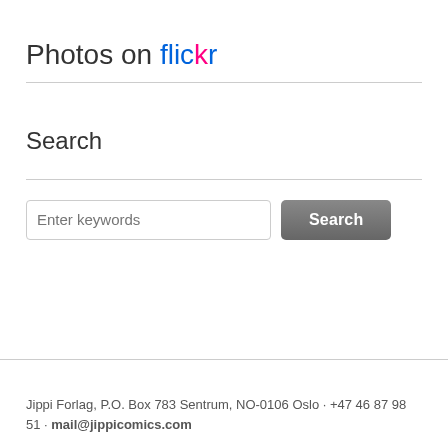Photos on flickr
Search
[Figure (screenshot): Search input field with placeholder 'Enter keywords' and a grey Search button]
Jippi Forlag, P.O. Box 783 Sentrum, NO-0106 Oslo • +47 46 87 98 51 · mail@jippicomics.com